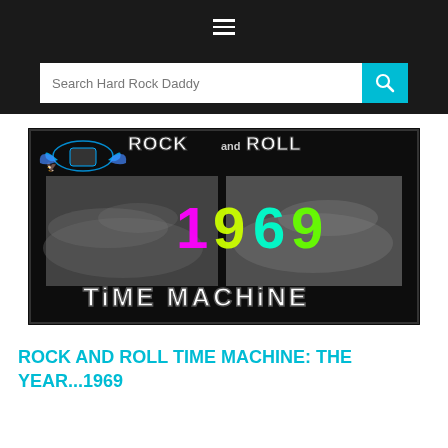≡
Search Hard Rock Daddy
[Figure (illustration): Rock and Roll Time Machine banner featuring the year 1969, with black and white concert crowd photos and colorful '1969' text overlay on dark background with styled logo]
ROCK AND ROLL TIME MACHINE: THE YEAR...1969